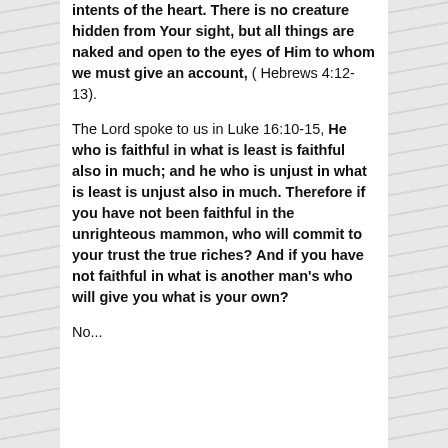intents of the heart. There is no creature hidden from Your sight, but all things are naked and open to the eyes of Him to whom we must give an account, ( Hebrews 4:12-13).
The Lord spoke to us in Luke 16:10-15, He who is faithful in what is least is faithful also in much; and he who is unjust in what is least is unjust also in much. Therefore if you have not been faithful in the unrighteous mammon, who will commit to your trust the true riches? And if you have not faithful in what is another man's who will give you what is your own?
No...